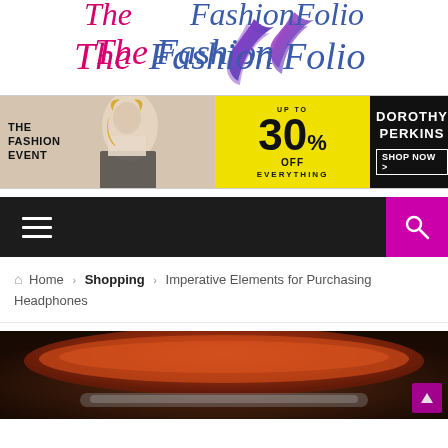[Figure (logo): The Fashion Folio logo with stylized feather/flame icon in blue-purple gradient, text in magenta italic 'The' and blue italic 'Fashion Folio']
[Figure (infographic): Horizontal banner ad: left section shows woman in fashion photo with text 'THE FASHION EVENT', middle yellow section says 'UP TO 30% OFF EVERYTHING', right black section says 'DOROTHY PERKINS SHOP NOW >']
[Figure (screenshot): Dark navigation bar with hamburger menu icon on left and magenta search button with magnifying glass icon on right]
Home › Shopping › Imperative Elements for Purchasing Headphones
[Figure (photo): Close-up photo of orange/red headphones, blurred background]